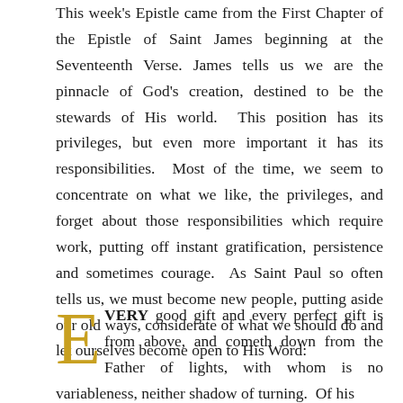This week's Epistle came from the First Chapter of the Epistle of Saint James beginning at the Seventeenth Verse. James tells us we are the pinnacle of God's creation, destined to be the stewards of His world.  This position has its privileges, but even more important it has its responsibilities.  Most of the time, we seem to concentrate on what we like, the privileges, and forget about those responsibilities which require work, putting off instant gratification, persistence and sometimes courage.  As Saint Paul so often tells us, we must become new people, putting aside our old ways, considerate of what we should do and let ourselves become open to His Word:
EVERY good gift and every perfect gift is from above, and cometh down from the Father of lights, with whom is no variableness, neither shadow of turning. Of his